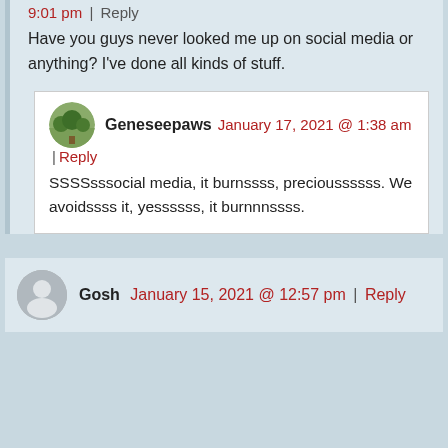9:01 pm | Reply
Have you guys never looked me up on social media or anything? I've done all kinds of stuff.
Geneseepaws  January 17, 2021 @ 1:38 am | Reply
SSSSsssocial media, it burnssss, precioussssss. We avoidssss it, yessssss, it burnnnssss.
Gosh  January 15, 2021 @ 12:57 pm | Reply